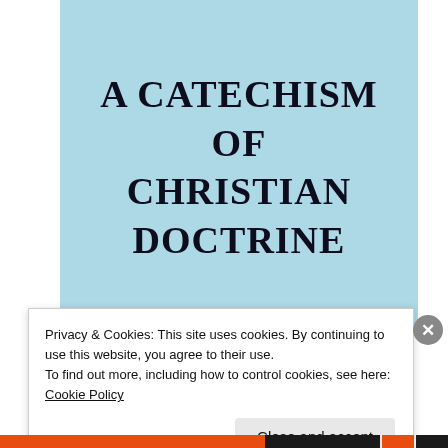[Figure (photo): Light blue book cover with the title 'A CATECHISM OF CHRISTIAN DOCTRINE' printed in large serif bold black text centered on the cover.]
A CATECHISM OF CHRISTIAN DOCTRINE
Privacy & Cookies: This site uses cookies. By continuing to use this website, you agree to their use.
To find out more, including how to control cookies, see here: Cookie Policy
Close and accept